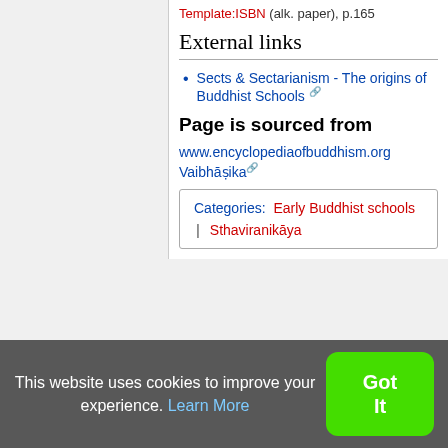Template:ISBN (alk. paper), p.165
External links
Sects & Sectarianism - The origins of Buddhist Schools [external link]
Page is sourced from
www.encyclopediaofbuddhism.org Vaibhāṣika [external link]
| Categories:  Early Buddhist schools | Sthaviranikāya |
This page was last edited on 18 October 2020, at 02:42.
This website uses cookies to improve your experience. Learn More  [Got It button]